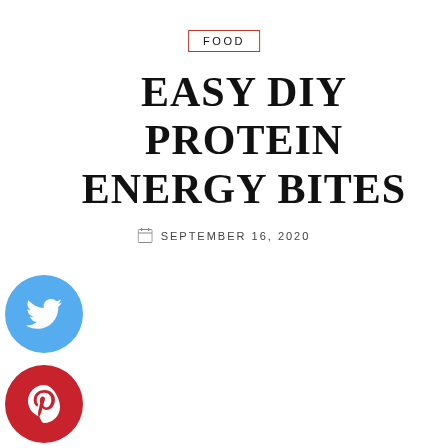FOOD
EASY DIY PROTEIN ENERGY BITES
SEPTEMBER 16, 2020
[Figure (other): Twitter share button - light blue circle with white Twitter bird icon]
[Figure (other): Pinterest share button - red circle with white Pinterest 'p' icon]
[Figure (other): Facebook share button - dark blue circle with white Facebook 'f' icon]